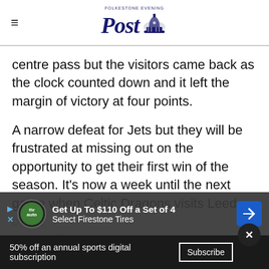FOLKESTONE EVENING Post
centre pass but the visitors came back as the clock counted down and it left the margin of victory at four points.
A narrow defeat for Jets but they will be frustrated at missing out on the opportunity to get their first win of the season. It’s now a week until the next game when Celtic Dragons visits Leeds [ad overlay] of the competition.
[Figure (other): Advertisement overlay: Get Up To $110 Off a Set of 4 Select Firestone Tires, with auto logo and navigation arrow icon]
50% off an annual sports digital subscription  Subscribe